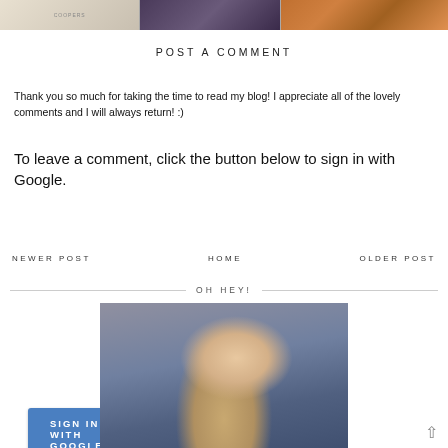[Figure (photo): Strip of three photos: a book/table scene, a dark portrait, and drinks on a table]
POST A COMMENT
Thank you so much for taking the time to read my blog! I appreciate all of the lovely comments and I will always return! :)
To leave a comment, click the button below to sign in with Google.
SIGN IN WITH GOOGLE
NEWER POST
HOME
OLDER POST
OH HEY!
[Figure (photo): Portrait photo of a blonde woman]